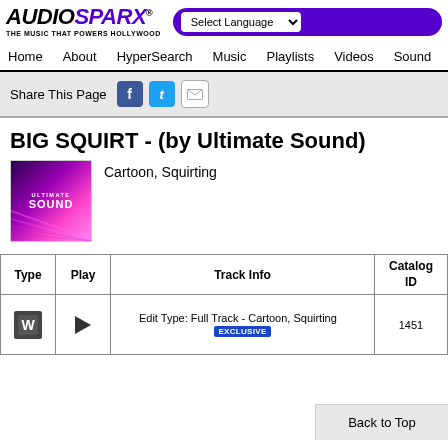AUDIOSPARX - THE MUSIC THAT POWERS HOLLYWOOD
Select Language | Home | About | HyperSearch | Music | Playlists | Videos | Sound
Share This Page
BIG SQUIRT - (by Ultimate Sound)
[Figure (photo): Ultimate Sound album cover with purple/pink gradient and text]
Cartoon, Squirting
| Type | Play | Track Info | Catalog ID |
| --- | --- | --- | --- |
| [W icon] | [speaker icon] | Edit Type: Full Track - Cartoon, Squirting  EXCLUSIVE | 1451 |